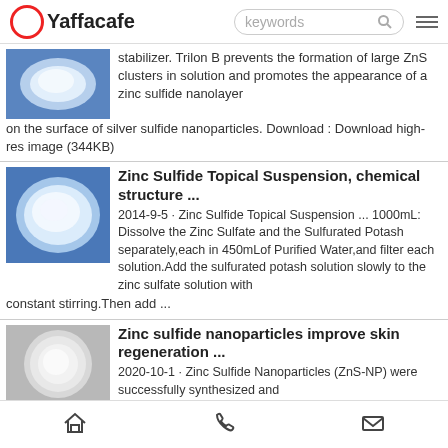Yaffacafe — keywords search bar
stabilizer. Trilon B prevents the formation of large ZnS clusters in solution and promotes the appearance of a zinc sulfide nanolayer on the surface of silver sulfide nanoparticles. Download : Download high-res image (344KB)
Zinc Sulfide Topical Suspension, chemical structure ...
2014-9-5 · Zinc Sulfide Topical Suspension ... 1000mL: Dissolve the Zinc Sulfate and the Sulfurated Potash separately,each in 450mLof Purified Water,and filter each solution.Add the sulfurated potash solution slowly to the zinc sulfate solution with constant stirring.Then add ...
Zinc sulfide nanoparticles improve skin regeneration ...
2020-10-1 · Zinc Sulfide Nanoparticles (ZnS-NP) were successfully synthesized and characterized. The nanoparticles ...